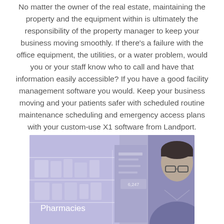No matter the owner of the real estate, maintaining the property and the equipment within is ultimately the responsibility of the property manager to keep your business moving smoothly. If there's a failure with the office equipment, the utilities, or a water problem, would you or your staff know who to call and have that information easily accessible? If you have a good facility management software you would. Keep your business moving and your patients safer with scheduled routine maintenance scheduling and emergency access plans with your custom-use X1 software from Landport.
[Figure (photo): A pharmacist or healthcare worker wearing glasses, working at a pharmacy counter with shelves in the background. A blue-purple overlay tint covers the image. Text 'Pharmacies' appears in white at the bottom left.]